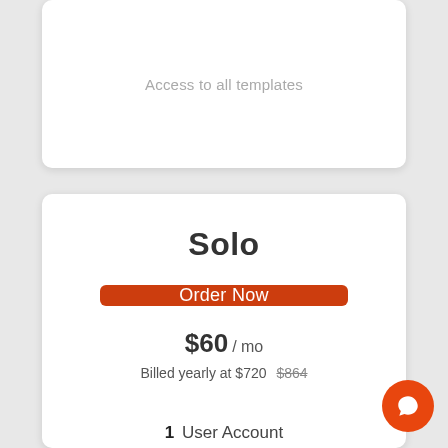Access to all templates
Solo
Order Now
$60 / mo
Billed yearly at $720  $864
1 User Account
License to use the data by 1 user.